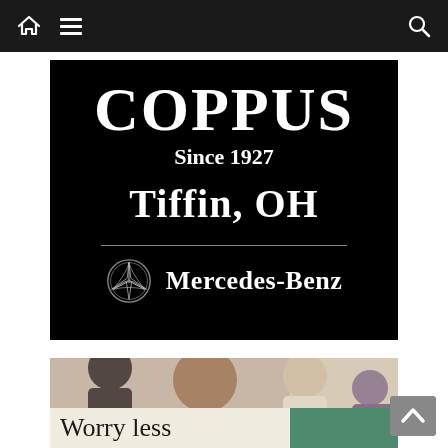Navigation bar with home icon, menu icon, and search icon
[Figure (logo): Coppus Mercedes-Benz dealership advertisement on black background. Text: COPPUS, Since 1927, Tiffin, OH, with Mercedes-Benz star logo and Mercedes-Benz wordmark.]
[Figure (photo): Photo of people in a room. A smiling bald man in gray shirt in foreground, a woman with light hair in background, another person at right.]
Worry less